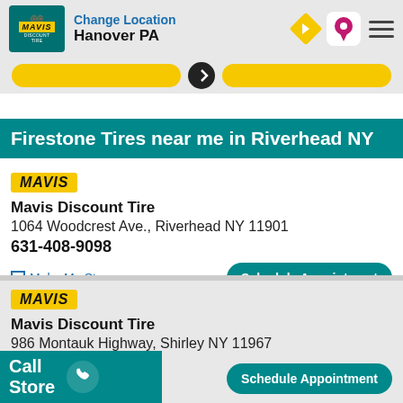Change Location Hanover PA
[Figure (screenshot): Yellow buttons strip with center dark circle icon]
Firestone Tires near me in Riverhead NY
[Figure (logo): Mavis yellow logo badge]
Mavis Discount Tire
1064 Woodcrest Ave., Riverhead NY 11901
631-408-9098
Make My Store
Schedule Appointment
[Figure (logo): Mavis yellow logo badge second store]
Mavis Discount Tire
986 Montauk Highway, Shirley NY 11967
631-395-4100
Call Store
Schedule Appointment